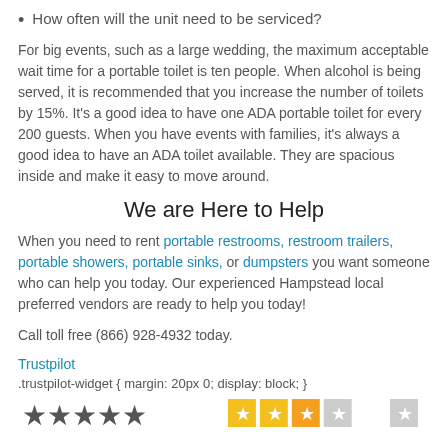How often will the unit need to be serviced?
For big events, such as a large wedding, the maximum acceptable wait time for a portable toilet is ten people. When alcohol is being served, it is recommended that you increase the number of toilets by 15%. It's a good idea to have one ADA portable toilet for every 200 guests. When you have events with families, it's always a good idea to have an ADA toilet available. They are spacious inside and make it easy to move around.
We are Here to Help
When you need to rent portable restrooms, restroom trailers, portable showers, portable sinks, or dumpsters you want someone who can help you today. Our experienced Hampstead local preferred vendors are ready to help you today!
Call toll free (866) 928-4932 today.
Trustpilot
.trustpilot-widget { margin: 20px 0; display: block; }
[Figure (other): Trustpilot star rating widget showing partial stars in yellow and grey]